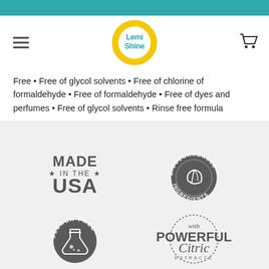Lemi Shine
Free • Free of glycol solvents • Free of chlorine of formaldehyde • Free of formaldehyde • Free of dyes and perfumes • Free of glycol solvents • Rinse free formula
[Figure (logo): Made in the USA badge - grey text with stars]
[Figure (logo): Biodegradable Ingredients circular badge with leaf icon]
[Figure (logo): Bleach Free circular badge with flask/beaker icon]
[Figure (logo): With Powerful Citric Extracts badge]